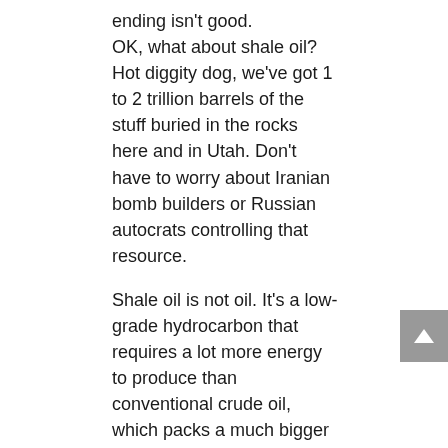ending isn't good.
OK, what about shale oil? Hot diggity dog, we've got 1 to 2 trillion barrels of the stuff buried in the rocks here and in Utah. Don't have to worry about Iranian bomb builders or Russian autocrats controlling that resource.
Shale oil is not oil. It's a low-grade hydrocarbon that requires a lot more energy to produce than conventional crude oil, which packs a much bigger energy punch.
Conventional crude oil is the champagne of fossil fuels. Shale oil is the cheap convenience store beer.
Producing energy is like investing money. You have to put energy in to get energy out. The greater the return, the higher quality the energy source. In conventional crude oil production in the U.S., for every unit of energy you put in, you get 11 to 18 units out. That's not a bad rate of return. With shale, for every unit you put in, you would only get